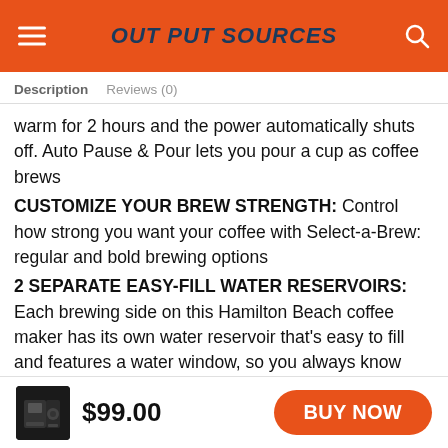OUT PUT SOURCES
Description   Reviews (0)
warm for 2 hours and the power automatically shuts off. Auto Pause & Pour lets you pour a cup as coffee brews
CUSTOMIZE YOUR BREW STRENGTH: Control how strong you want your coffee with Select-a-Brew: regular and bold brewing options
2 SEPARATE EASY-FILL WATER RESERVOIRS: Each brewing side on this Hamilton Beach coffee maker has its own water reservoir that’s easy to fill and features a water window, so you always know exactly how much water to add
$99.00
BUY NOW